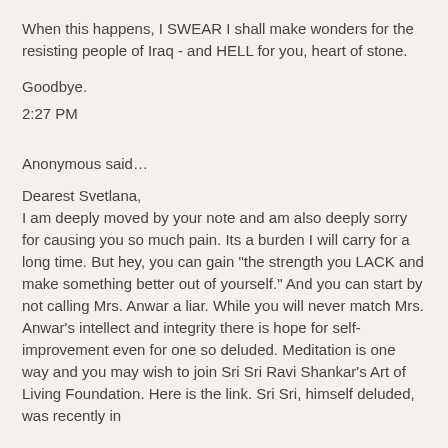When this happens, I SWEAR I shall make wonders for the resisting people of Iraq - and HELL for you, heart of stone.
Goodbye.
2:27 PM
Anonymous said...
Dearest Svetlana,
I am deeply moved by your note and am also deeply sorry for causing you so much pain. Its a burden I will carry for a long time. But hey, you can gain "the strength you LACK and make something better out of yourself." And you can start by not calling Mrs. Anwar a liar. While you will never match Mrs. Anwar's intellect and integrity there is hope for self-improvement even for one so deluded. Meditation is one way and you may wish to join Sri Sri Ravi Shankar's Art of Living Foundation. Here is the link. Sri Sri, himself deluded, was recently in